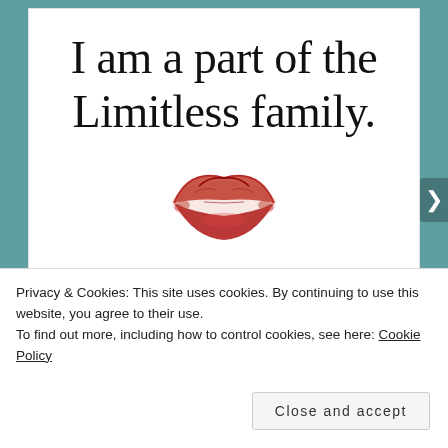I am a part of the Limitless family.
[Figure (illustration): Red lipstick kiss mark / lips imprint graphic]
www.limitlesspublishing.net
Privacy & Cookies: This site uses cookies. By continuing to use this website, you agree to their use.
To find out more, including how to control cookies, see here: Cookie Policy
Close and accept